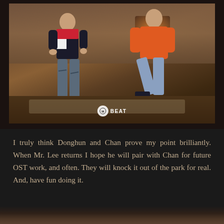[Figure (photo): Two K-pop artists (Donghun and Chan) sitting/posing in a cozy indoor setting with a fireplace, leather chair, and warm lighting. One wears a dark polo shirt with ripped jeans, the other wears an orange hoodie with light blue jeans. A Beat Interactive logo watermark appears at the bottom center of the photo.]
I truly think Donghun and Chan prove my point brilliantly. When Mr. Lee returns I hope he will pair with Chan for future OST work, and often. They will knock it out of the park for real. And, have fun doing it.
[Figure (photo): Partial view of another photo at the bottom of the page, dark toned.]